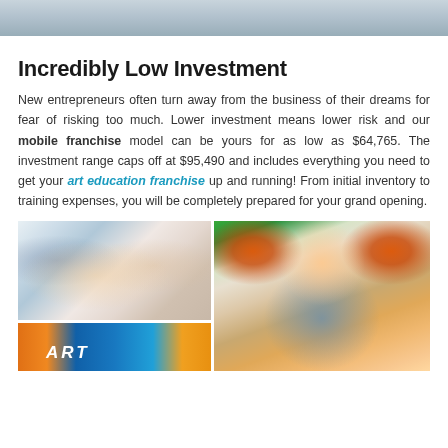[Figure (photo): Partial image at top of page showing art/craft activity]
Incredibly Low Investment
New entrepreneurs often turn away from the business of their dreams for fear of risking too much. Lower investment means lower risk and our mobile franchise model can be yours for as low as $64,765. The investment range caps off at $95,490 and includes everything you need to get your art education franchise up and running! From initial inventory to training expenses, you will be completely prepared for your grand opening.
[Figure (photo): Grid of three photos: top-left shows children in an art class setting at tables; bottom-left shows colorful ART signage; right shows a smiling young boy holding up orange paint-covered hands]